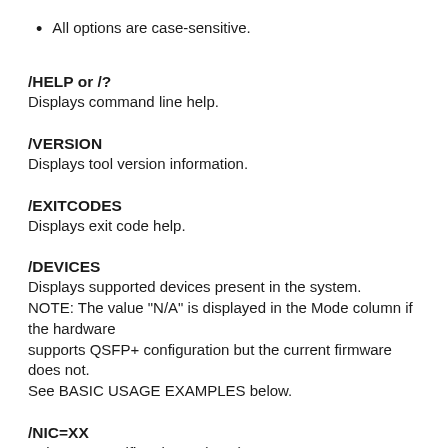All options are case-sensitive.
/HELP or /?
Displays command line help.
/VERSION
Displays tool version information.
/EXITCODES
Displays exit code help.
/DEVICES
Displays supported devices present in the system.
NOTE: The value "N/A" is displayed in the Mode column if the hardware
supports QSFP+ configuration but the current firmware does not.
See BASIC USAGE EXAMPLES below.
/NIC=XX
Selects a specific adapter (1-32).
/INFO
Displays supported QSFP+ link modes. Use only with /NIC.